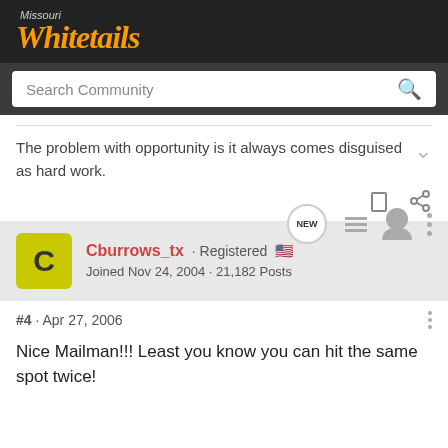Missouri Whitetails
Search Community
The problem with opportunity is it always comes disguised as hard work.
Cburrows_tx · Registered
Joined Nov 24, 2004 · 21,182 Posts
#4 · Apr 27, 2006
Nice Mailman!!! Least you know you can hit the same spot twice!